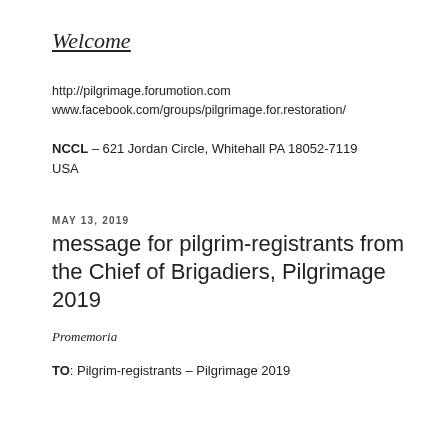Welcome
http://pilgrimage.forumotion.com
www.facebook.com/groups/pilgrimage.for.restoration/
NCCL – 621 Jordan Circle, Whitehall PA 18052-7119 USA
MAY 13, 2019
message for pilgrim-registrants from the Chief of Brigadiers, Pilgrimage 2019
Promemoria
TO: Pilgrim-registrants – Pilgrimage 2019